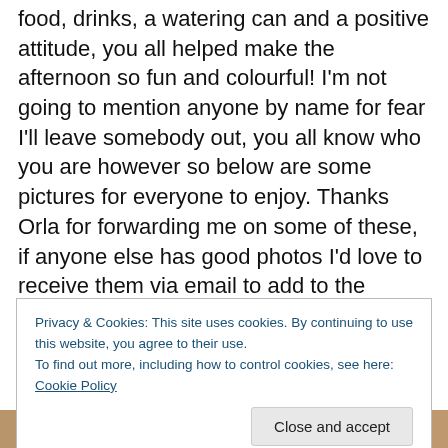food, drinks, a watering can and a positive attitude, you all helped make the afternoon so fun and colourful! I'm not going to mention anyone by name for fear I'll leave somebody out, you all know who you are however so below are some pictures for everyone to enjoy. Thanks Orla for forwarding me on some of these, if anyone else has good photos I'd love to receive them via email to add to the collection! Tomorrow afternoon I hope to add some text to the back of the wall hanging and finish felting it, as soon as I do I'll post the final pics and set up a rota so everyone who participated will have a chance to display
Privacy & Cookies: This site uses cookies. By continuing to use this website, you agree to their use.
To find out more, including how to control cookies, see here: Cookie Policy
[Figure (photo): A strip of photos showing people at a crafting/community event]